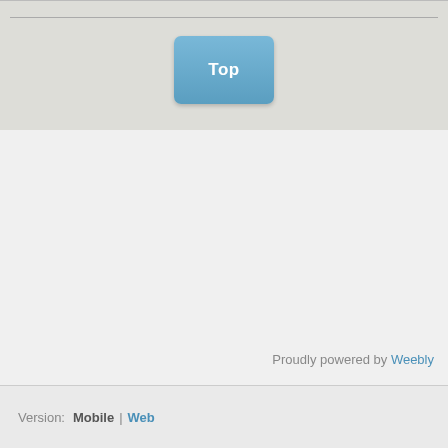[Figure (screenshot): A blue rounded button labeled 'Top' centered in a light gray section]
Proudly powered by Weebly
Version: Mobile | Web